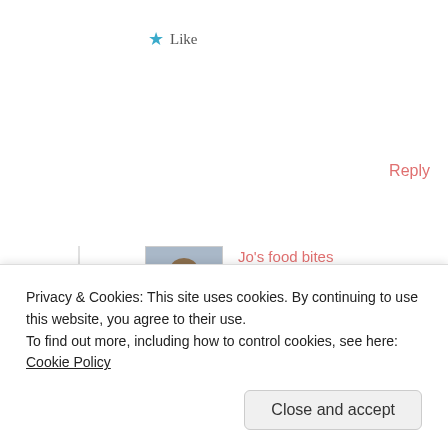★ Like
Reply
[Figure (photo): Avatar photo of Jo's food bites commenter]
Jo's food bites
July 16, 2016 at 6:31 pm
I will try 🙂
★ Like
Reply
Privacy & Cookies: This site uses cookies. By continuing to use this website, you agree to their use.
To find out more, including how to control cookies, see here: Cookie Policy
Close and accept